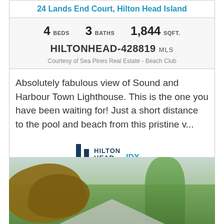24 Lands End Court, Hilton Head Island
4 BEDS   3 BATHS   1,844 SQFT.
HILTONHEAD-428819 MLS
Courtesy of Sea Pines Real Estate - Beach Club
Absolutely fabulous view of Sound and Harbour Town Lighthouse. This is the one you have been waiting for! Just a short distance to the pool and beach from this pristine v...
[Figure (logo): Hilton Head IDX logo with two vertical bars and text]
[Figure (photo): Exterior photo showing tropical foliage with large brown leaves in foreground, green trees, and a roofline visible in background]